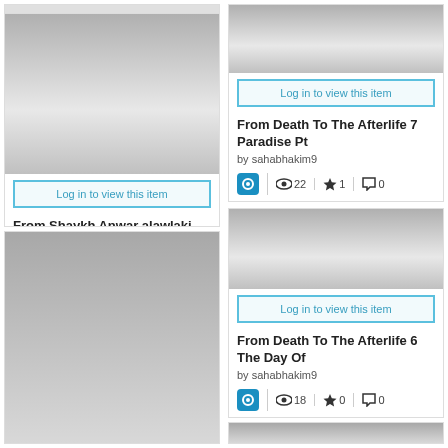[Figure (screenshot): Two-column grid of media item cards. Top-left partial card (cropped). Top-right card: blurred thumbnail, 'Log in to view this item' button, title 'From Death To The Afterlife 7 Paradise Pt', author 'by sahabhakim9', stats: 22 views, 1 favorite, 0 comments. Bottom-left card: blurred tall thumbnail, 'Log in to view this item' button, title 'From Shaykh Anwar alawlaki Blog on', author 'by sahabhakim9', stats: 16 views, 0 favorites, 0 comments. Bottom-right card: blurred thumbnail, 'Log in to view this item' button, title 'From Death To The Afterlife 6 The Day Of', author 'by sahabhakim9', stats: 18 views, 0 favorites, 0 comments. Two partial cards at the very bottom (cropped).]